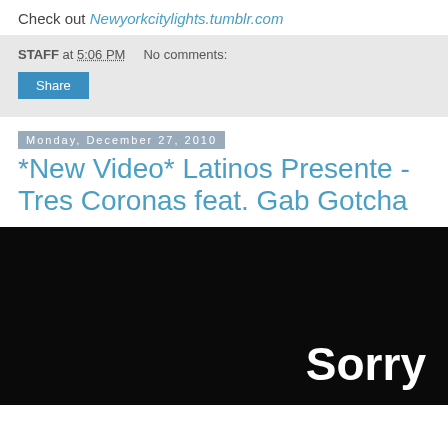Check out Newyorkcitylights.tumblr.com
STAFF at 5:06 PM   No comments:
Share
Monday, December 27, 2010
*New Video* Latinos Presente - Tres Coronas feat. Gab Gotcha
[Figure (screenshot): Black video player background with white bold text 'Sorry' in the lower right area]